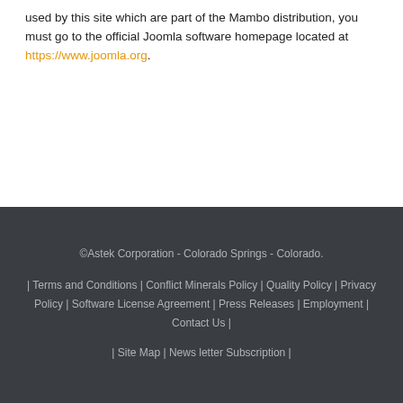used by this site which are part of the Mambo distribution, you must go to the official Joomla software homepage located at https://www.joomla.org.
©Astek Corporation - Colorado Springs - Colorado. | Terms and Conditions | Conflict Minerals Policy | Quality Policy | Privacy Policy | Software License Agreement | Press Releases | Employment | Contact Us | | Site Map | News letter Subscription |